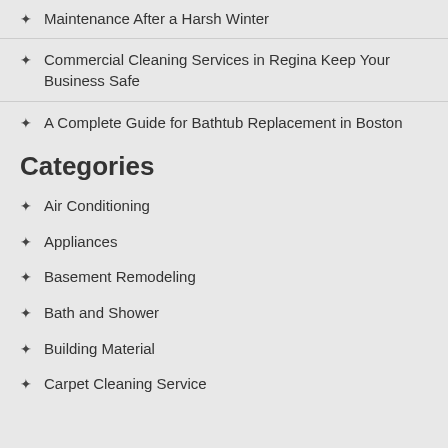Maintenance After a Harsh Winter
Commercial Cleaning Services in Regina Keep Your Business Safe
A Complete Guide for Bathtub Replacement in Boston
Categories
Air Conditioning
Appliances
Basement Remodeling
Bath and Shower
Building Material
Carpet Cleaning Service